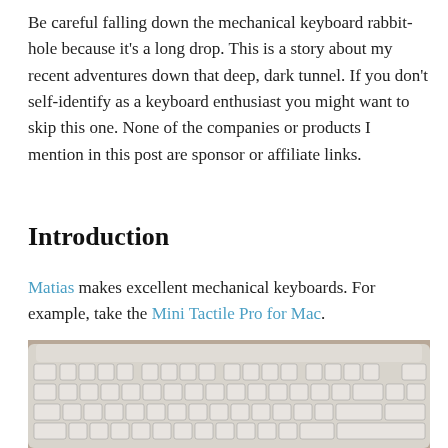Be careful falling down the mechanical keyboard rabbit-hole because it's a long drop. This is a story about my recent adventures down that deep, dark tunnel. If you don't self-identify as a keyboard enthusiast you might want to skip this one. None of the companies or products I mention in this post are sponsor or affiliate links.
Introduction
Matias makes excellent mechanical keyboards. For example, take the Mini Tactile Pro for Mac.
[Figure (photo): Photo of a white Matias Mini Tactile Pro mechanical keyboard for Mac, showing the full keyboard layout with white keys on a tan/stone surface background.]